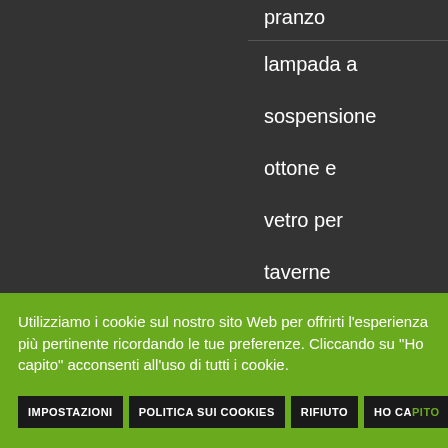pranzo
lampada a sospensione ottone e vetro per taverne
lampada a sospensione
Utilizziamo i cookie sul nostro sito Web per offrirti l'esperienza più pertinente ricordando le tue preferenze. Cliccando su "Ho capito" acconsenti all'uso di tutti i cookie.
IMPOSTAZIONI | POLITICA SUI COOKIES | RIFIUTO | HO CAPITO